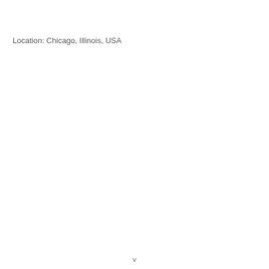Location: Chicago, Illinois, USA
v